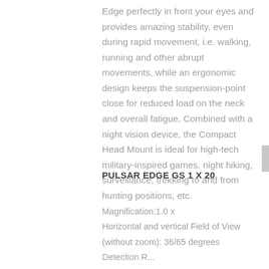Edge perfectly in front your eyes and provides amazing stability, even during rapid movement, i.e. walking, running and other abrupt movements, while an ergonomic design keeps the suspension-point close for reduced load on the neck and overall fatigue. Combined with a night vision device, the Compact Head Mount is ideal for high-tech military-inspired games, night hiking, surveillance, trekking to and from hunting positions, etc.
PULSAR EDGE GS 1 X 20
Magnification:1.0 x
Horizontal and vertical Field of View (without zoom): 36/65 degrees
Detection Range...